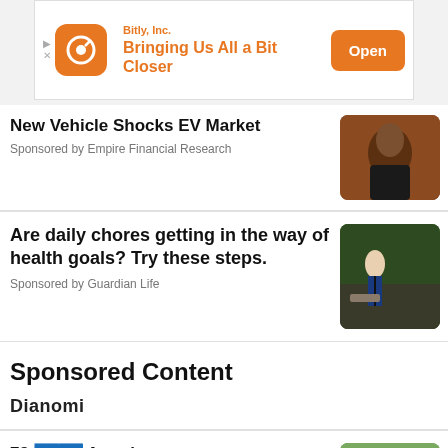[Figure (screenshot): Bitly Inc. app advertisement banner with orange logo, tagline 'Bringing Us All a Bit Closer', and orange 'Open' button]
New Vehicle Shocks EV Market
Sponsored by Empire Financial Research
[Figure (photo): Man with beard against orange background]
Are daily chores getting in the way of health goals? Try these steps.
Sponsored by Guardian Life
[Figure (photo): Person hiking on a trail in a forest]
Sponsored Content
[Figure (logo): Dianomi logo]
73-... American ent... r issues warning
[Figure (photo): Bald man in outdoor setting]
Feedback